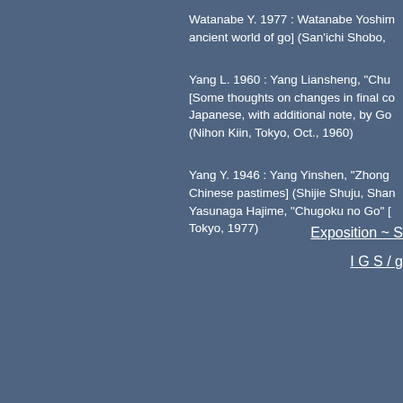Watanabe Y. 1977 : Watanabe Yoshimi... ancient world of go] (San'ichi Shobo, ...
Yang L. 1960 : Yang Liansheng, "Chu... [Some thoughts on changes in final co... Japanese, with additional note, by Go ... (Nihon Kiin, Tokyo, Oct., 1960)
Yang Y. 1946 : Yang Yinshen, "Zhong... Chinese pastimes] (Shijie Shuju, Shan... Yasunaga Hajime, "Chugoku no Go" [... Tokyo, 1977)
Exposition ~ S
I G S / g